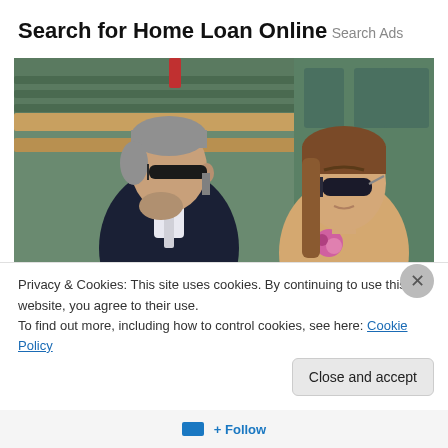Search for Home Loan Online
Search Ads
[Figure (photo): Two people sitting in stadium seating at a sporting event (likely Wimbledon). On the left is an older man with grey hair wearing sunglasses and a dark navy suit with a light tie. On the right is a young woman with long brown hair wearing sunglasses and a floral top. Green stadium seats are visible in the background.]
Privacy & Cookies: This site uses cookies. By continuing to use this website, you agree to their use.
To find out more, including how to control cookies, see here: Cookie Policy